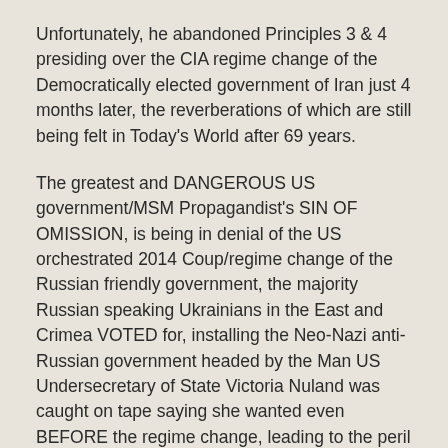Unfortunately, he abandoned Principles 3 & 4 presiding over the CIA regime change of the Democratically elected government of Iran just 4 months later, the reverberations of which are still being felt in Today's World after 69 years.
The greatest and DANGEROUS US government/MSM Propagandist's SIN OF OMISSION, is being in denial of the US orchestrated 2014 Coup/regime change of the Russian friendly government, the majority Russian speaking Ukrainians in the East and Crimea VOTED for, installing the Neo-Nazi anti-Russian government headed by the Man US Undersecretary of State Victoria Nuland was caught on tape saying she wanted even BEFORE the regime change, leading to the peril this World faces Today.
Those Russian speaking Ukrainians had no Legal or